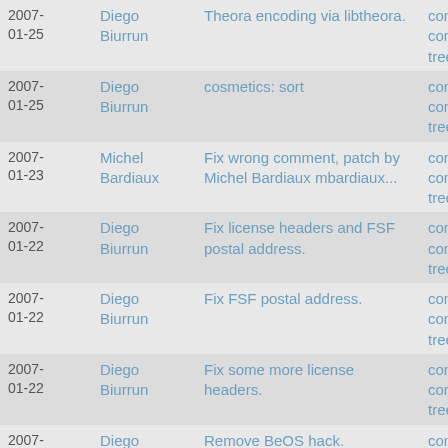| Date | Author | Message | Links |
| --- | --- | --- | --- |
| 2007-01-25 | Diego Biurrun | Theora encoding via libtheora. | commit | commitdiff | tree |
| 2007-01-25 | Diego Biurrun | cosmetics: sort | commit | commitdiff | tree |
| 2007-01-23 | Michel Bardiaux | Fix wrong comment, patch by Michel Bardiaux mbardiaux... | commit | commitdiff | tree |
| 2007-01-22 | Diego Biurrun | Fix license headers and FSF postal address. | commit | commitdiff | tree |
| 2007-01-22 | Diego Biurrun | Fix FSF postal address. | commit | commitdiff | tree |
| 2007-01-22 | Diego Biurrun | Fix some more license headers. | commit | commitdiff | tree |
| 2007-01-21 | Diego Biurrun | Remove BeOS hack. | commit | commitdiff | tree |